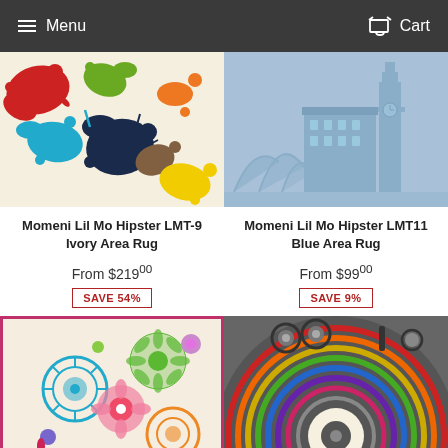Menu  Cart
[Figure (photo): Momeni Lil Mo Hipster LMT-9 Ivory Area Rug – colorful paint splatter pattern on cream background]
Momeni Lil Mo Hipster LMT-9 Ivory Area Rug
From $21900
SAVE 54%
[Figure (photo): Momeni Lil Mo Hipster LMT11 Blue Area Rug – blue tonal skyline with Big Ben and Sydney Opera House]
Momeni Lil Mo Hipster LMT11 Blue Area Rug
From $9900
SAVE 9%
[Figure (photo): Rug with colorful floral/circle pattern on cream background with pink border]
[Figure (photo): Rug with vinyl record / concentric rainbow circles pattern on grey background]